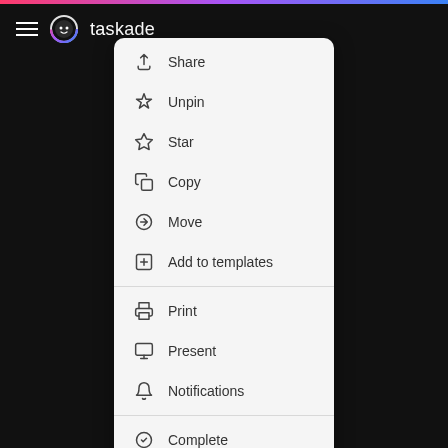taskade
[Figure (screenshot): Taskade app dropdown context menu showing options: Share, Unpin, Star, Copy, Move, Add to templates, Print, Present, Notifications, Complete]
Share
Unpin
Star
Copy
Move
Add to templates
Print
Present
Notifications
Complete